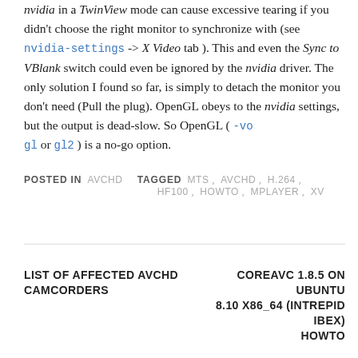nvidia in a TwinView mode can cause excessive tearing if you didn't choose the right monitor to synchronize with (see nvidia-settings -> X Video tab ). This and even the Sync to VBlank switch could even be ignored by the nvidia driver. The only solution I found so far, is simply to detach the monitor you don't need (Pull the plug). OpenGL obeys to the nvidia settings, but the output is dead-slow. So OpenGL ( -vogl or gl2 ) is a no-go option.
POSTED IN AVCHD   TAGGED MTS , AVCHD , H.264 , HF100 , HOWTO , MPLAYER , XV
LIST OF AFFECTED AVCHD CAMCORDERS
COREAVC 1.8.5 ON UBUNTU 8.10 X86_64 (INTREPID IBEX) HOWTO